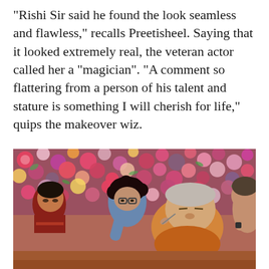“Rishi Sir said he found the look seamless and flawless,” recalls Preetisheel. Saying that it looked extremely real, the veteran actor called her a “magician”. “A comment so flattering from a person of his talent and stature is something I will cherish for life,” quips the makeover wiz.
[Figure (photo): A woman with curly hair and glasses applies makeup to an older man with grey hair wearing an orange shirt. A young man in a red t-shirt watches from the left, and another person is partially visible on the right. The background is a wall of colorful flowers in pink, red, purple, and yellow.]